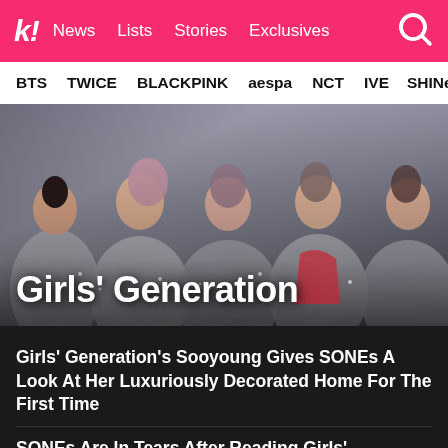k! | News | Lists | Stories | Exclusives
BTS | TWICE | BLACKPINK | aespa | NCT | IVE | SHINee
[Figure (photo): Group photo of Girls' Generation members in sparkly silver outfits with the title 'Girls' Generation' overlaid in white bold text at the bottom left]
Girls' Generation's Sooyoung Gives SONEs A Look At Her Luxuriously Decorated Home For The First Time
SONEs Are In Tears After Reading Girls' Generation Taeyeon's Sweet Message To Fans
40+ HD Stage Photos From Girls' Generation's “Forever 1” Stage That Prove They're Flawless Beauties
10+ Of The Best Moments From Girls' Generation's 15th